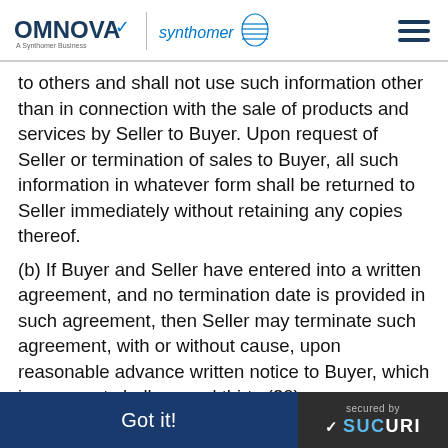OMNOVA – A Synthomer Business / Synthomer logo header with hamburger menu
to others and shall not use such information other than in connection with the sale of products and services by Seller to Buyer.  Upon request of Seller or termination of sales to Buyer, all such information in whatever form shall be returned to Seller immediately without retaining any copies thereof.
(b) If Buyer and Seller have entered into a written agreement, and no termination date is provided in such agreement, then Seller may terminate such agreement, with or without cause, upon reasonable advance written notice to Buyer, which in no event shall exceed thirty (30) .
This website uses cookies to ensure you get the best experience on our website.
Got it!
secured by SUCURI